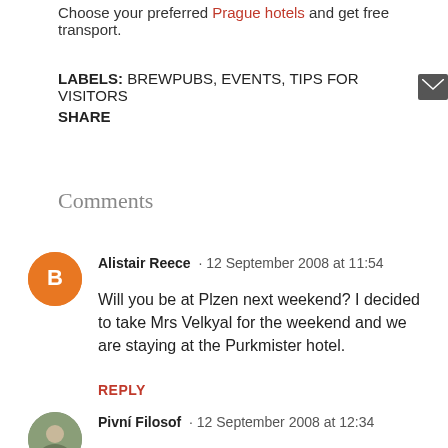Choose your preferred Prague hotels and get free transport.
LABELS: BREWPUBS, EVENTS, TIPS FOR VISITORS
SHARE
Comments
Alistair Reece · 12 September 2008 at 11:54
Will you be at Plzen next weekend? I decided to take Mrs Velkyal for the weekend and we are staying at the Purkmister hotel.
REPLY
Pivní Filosof · 12 September 2008 at 12:34
I would love to go, but it's not sure yet... Im definitively going tomorrow, though